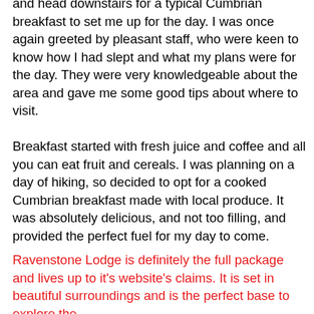and head downstairs for a typical Cumbrian breakfast to set me up for the day. I was once again greeted by pleasant staff, who were keen to know how I had slept and what my plans were for the day. They were very knowledgeable about the area and gave me some good tips about where to visit.
Breakfast started with fresh juice and coffee and all you can eat fruit and cereals. I was planning on a day of hiking, so decided to opt for a cooked Cumbrian breakfast made with local produce. It was absolutely delicious, and not too filling, and provided the perfect fuel for my day to come.
Ravenstone Lodge is definitely the full package and lives up to it's website's claims. It is set in beautiful surroundings and is the perfect base to explore the